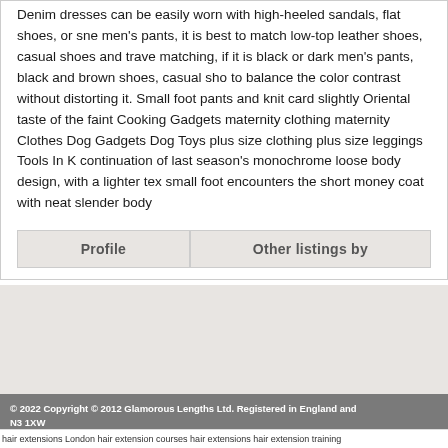Denim dresses can be easily worn with high-heeled sandals, flat shoes, or sne men's pants, it is best to match low-top leather shoes, casual shoes and trave matching, if it is black or dark men's pants, black and brown shoes, casual sho to balance the color contrast without distorting it. Small foot pants and knit card slightly Oriental taste of the faint Cooking Gadgets maternity clothing maternity Clothes Dog Gadgets Dog Toys plus size clothing plus size leggings Tools In K continuation of last season's monochrome loose body design, with a lighter tex small foot encounters the short money coat with neat slender body
Profile | Other listings by
[Figure (other): Gray background box region, appears to be a placeholder or ad area]
© 2022 Copyright © 2012 Glamorous Lengths Ltd. Registered in England and N3 1XW
hair extensions London hair extension courses hair extensions hair extension training